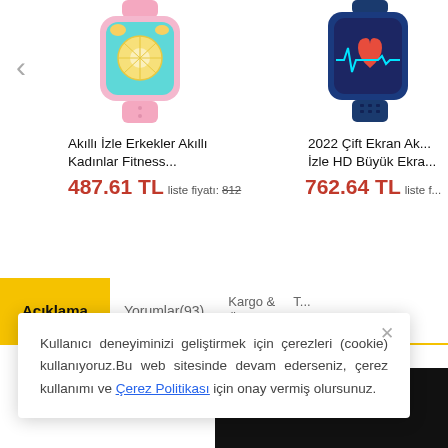[Figure (photo): Pink smartwatch with colorful citrus fruit display]
Akıllı İzle Erkekler Akıllı Kadınlar Fitness...
487.61 TL liste fiyatı: 812
[Figure (photo): Dark blue smartwatch with health monitoring display]
2022 Çift Ekran Ak... İzle HD Büyük Ekra...
762.64 TL liste f...
Açıklama
Yorumlar(93)
Kargo & Ödeme
T... Soru...
mi Band 4 Youtub...
Kullanıcı deneyiminizi geliştirmek için çerezleri (cookie) kullanıyoruz.Bu web sitesinde devam ederseniz, çerez kullanımı ve Çerez Politikası için onay vermiş olursunuz.